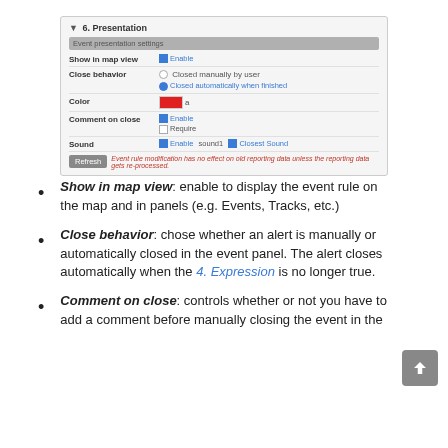[Figure (screenshot): UI screenshot showing '6. Presentation' settings panel with rows: Show in map view (Enable checkbox), Close behavior (two radio buttons: Closed manually by user, Closed automatically when finished), Color (red color picker), Comment on close (Enable/Require checkboxes), Sound (Enable checkbox, sound1, Closest Sound). Refresh button with red warning text.]
Show in map view: enable to display the event rule on the map and in panels (e.g. Events, Tracks, etc.)
Close behavior: chose whether an alert is manually or automatically closed in the event panel. The alert closes automatically when the 4. Expression is no longer true.
Comment on close: controls whether or not you have to add a comment before manually closing the event in the